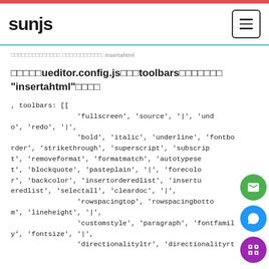sunjs
（日本語のパンくず） ドキュメント: insertahtml
在ueditor.config.jsの中のtoolbarsに追加する「insertahtml」の設定
, toolbars: [[
                'fullscreen', 'source', '|', 'undo', 'redo', '|',
                'bold', 'italic', 'underline', 'fontborder', 'strikethrough', 'superscript', 'subscript', 'removeformat', 'formatmatch', 'autotypeset', 'blockquote', 'pasteplain', '|', 'forecolor', 'backcolor', 'insertorderedlist', 'insertunorderedlist', 'selectall', 'cleardoc', '|',
                'rowspacingtop', 'rowspacingbottom', 'lineheight', '|',
                'customstyle', 'paragraph', 'fontfamily', 'fontsize', '|',
                'directionallyltr', 'directionalityrt